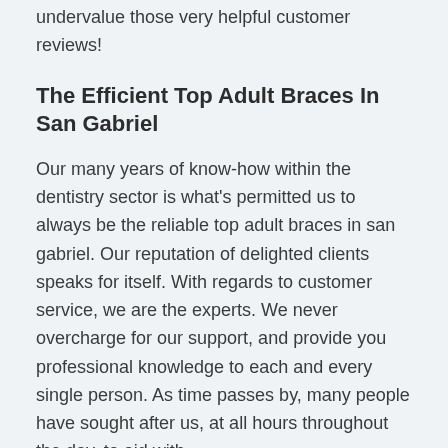undervalue those very helpful customer reviews!
The Efficient Top Adult Braces In San Gabriel
Our many years of know-how within the dentistry sector is what's permitted us to always be the reliable top adult braces in san gabriel. Our reputation of delighted clients speaks for itself. With regards to customer service, we are the experts. We never overcharge for our support, and provide you professional knowledge to each and every single person. As time passes by, many people have sought after us, at all hours throughout the day, to aid with